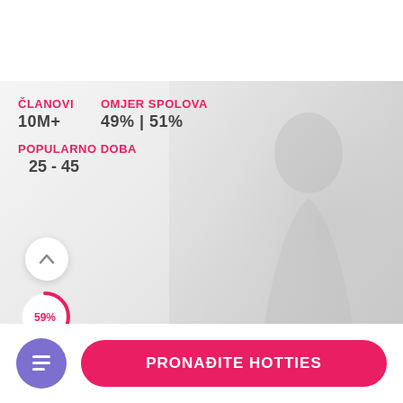ČLANOVI: 10M+ | OMJER SPOLOVA: 49% | 51%
POPULARNO DOBA: 25 - 45
[Figure (infographic): Up arrow button circle and 59% donut circle indicator]
PRONAĐITE HOTTIES